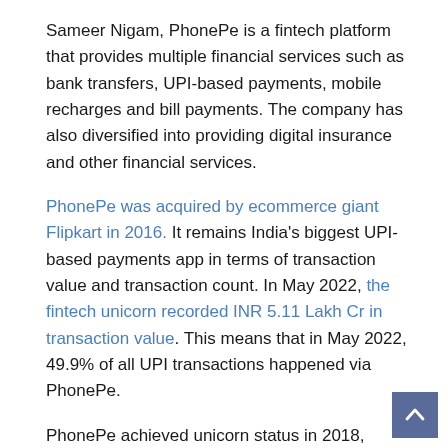Sameer Nigam, PhonePe is a fintech platform that provides multiple financial services such as bank transfers, UPI-based payments, mobile recharges and bill payments. The company has also diversified into providing digital insurance and other financial services.
PhonePe was acquired by ecommerce giant Flipkart in 2016. It remains India's biggest UPI-based payments app in terms of transaction value and transaction count. In May 2022, the fintech unicorn recorded INR 5.11 Lakh Cr in transaction value. This means that in May 2022, 49.9% of all UPI transactions happened via PhonePe.
PhonePe achieved unicorn status in 2018, merely three years after its incorporation, and has raised upwards of $1 Bn in funding since 2016. Most recently, PhonePe's Singapore-based parent company received $297 Mn in funding from Flipkart.